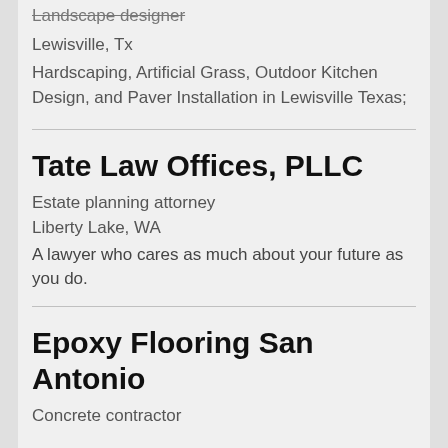Landscape designer
Lewisville, Tx
Hardscaping, Artificial Grass, Outdoor Kitchen Design, and Paver Installation in Lewisville Texas;
Tate Law Offices, PLLC
Estate planning attorney
Liberty Lake, WA
A lawyer who cares as much about your future as you do.
Epoxy Flooring San Antonio
Concrete contractor